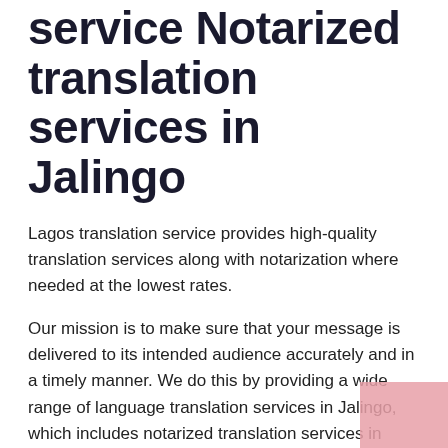service Notarized translation services in Jalingo
Lagos translation service provides high-quality translation services along with notarization where needed at the lowest rates.
Our mission is to make sure that your message is delivered to its intended audience accurately and in a timely manner. We do this by providing a wide range of language translation services in Jalingo, which includes notarized translation services in Jalingo.
Notarized translation services in Jalingo are provided by